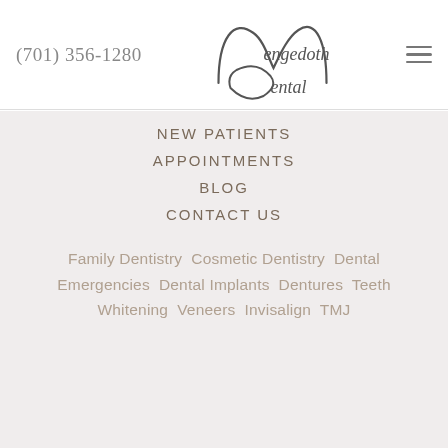(701) 356-1280
[Figure (logo): Mengedoth Dental cursive logo]
NEW PATIENTS
APPOINTMENTS
BLOG
CONTACT US
Family Dentistry  Cosmetic Dentistry  Dental Emergencies  Dental Implants  Dentures  Teeth Whitening  Veneers  Invisalign  TMJ